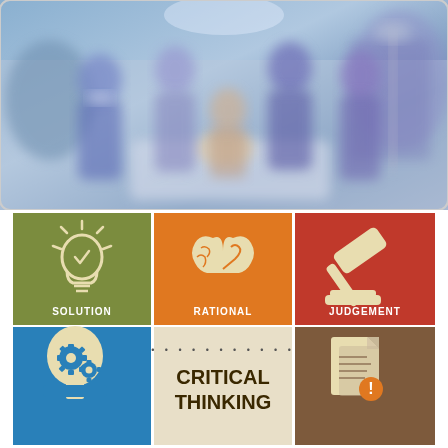[Figure (photo): Blurred medical scene showing healthcare workers in blue scrubs/gowns attending to a patient in what appears to be an ICU or emergency room setting]
[Figure (infographic): Critical thinking infographic with six colored panels: Solution (olive green, lightbulb icon), Rational (orange, brain-heart icon), Judgement (red, gavel icon), a thinking head with gears (blue), Critical Thinking text (beige center), and a document with exclamation (brown)]